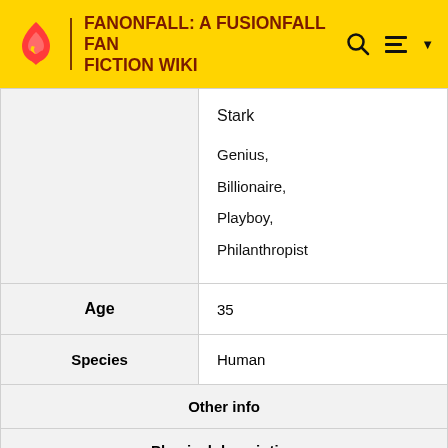FANONFALL: A FUSIONFALL FAN FICTION WIKI
|  | Stark
Genius, Billionaire, Playboy, Philanthropist |
| Age | 35 |
| Species | Human |
| Other info |  |
| Physical description |  |
| Gender | Male |